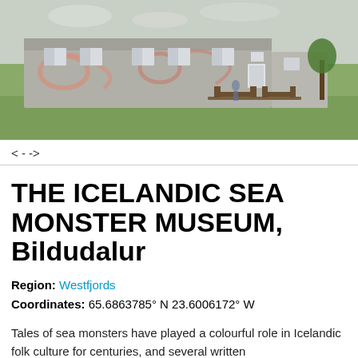[Figure (photo): Exterior photo of a building with graffiti murals, white-framed windows, green lawn, and picnic tables outside. Appears to be a Nordic/Icelandic structure.]
< - ->
THE ICELANDIC SEA MONSTER MUSEUM, Bildudalur
Region: Westfjords
Coordinates: 65.6863785° N 23.6006172° W
Tales of sea monsters have played a colourful role in Icelandic folk culture for centuries, and several written